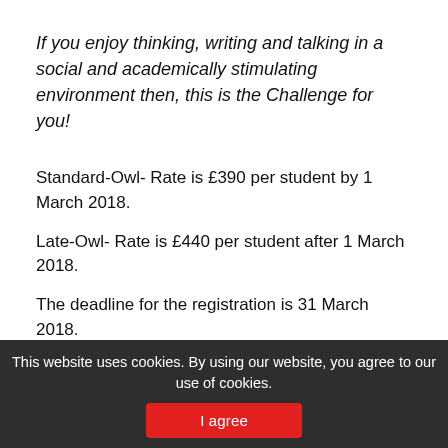If you enjoy thinking, writing and talking in a social and academically stimulating environment then, this is the Challenge for you!
Standard-Owl- Rate is £390 per student by 1 March 2018.
Late-Owl- Rate is £440 per student after 1 March 2018.
The deadline for the registration is 31 March 2018.
This website uses cookies. By using our website, you agree to our use of cookies.